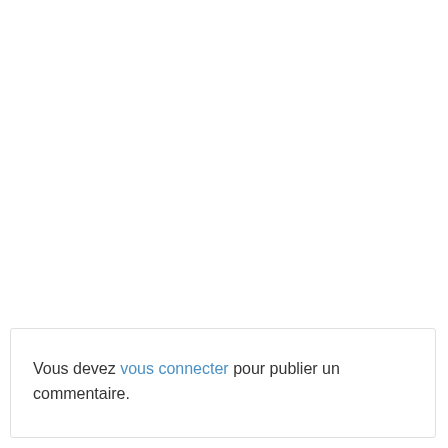Vous devez vous connecter pour publier un commentaire.